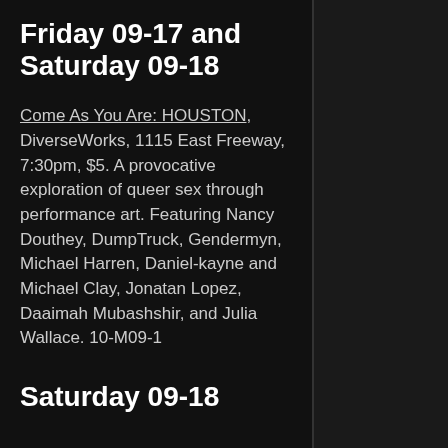Friday 09-17 and Saturday 09-18
Come As You Are: HOUSTON, DiverseWorks, 1115 East Freeway, 7:30pm, $5. A provocative exploration of queer sex through performance art. Featuring Nancy Douthey, DumpTruck, Gendermyn, Michael Harren, Daniel-kayne and Michael Clay, Jonatan Lopez, Daaimah Mubashshir, and Julia Wallace. 10-M09-1
Saturday 09-18